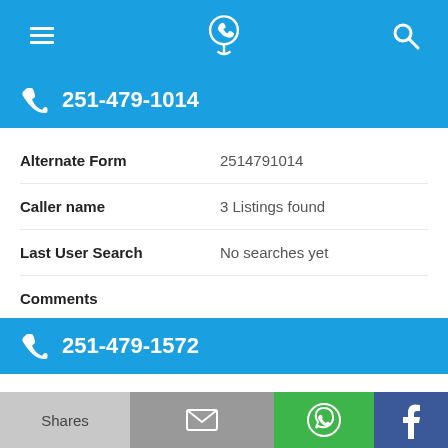[Figure (screenshot): Navigation bar with hamburger menu icon, phone/location icon, and search icon on blue background]
251-479-1014
| Field | Value |
| --- | --- |
| Alternate Form | 2514791014 |
| Caller name | 3 Listings found |
| Last User Search | No searches yet |
| Comments |  |
251-479-1572
| Field | Value |
| --- | --- |
| Alternate Form | 2514791572 |
[Figure (screenshot): Bottom share bar with Shares, email, WhatsApp, and Facebook buttons]